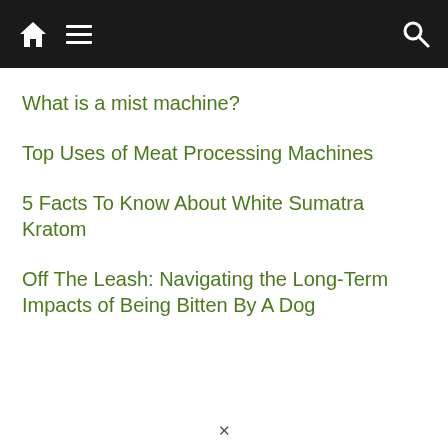navigation bar with home, menu, and search icons
What is a mist machine?
Top Uses of Meat Processing Machines
5 Facts To Know About White Sumatra Kratom
Off The Leash: Navigating the Long-Term Impacts of Being Bitten By A Dog